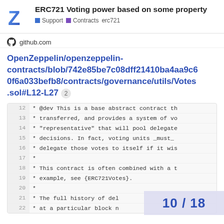ERC721 Voting power based on some property
Support  Contracts  erc721
github.com
OpenZeppelin/openzeppelin-contracts/blob/742e85be7c08dff21410ba4aa9c60f6a033befb8/contracts/governance/utils/Votes.sol#L12-L27  2
[Figure (screenshot): GitHub code viewer showing lines 12-22 of Votes.sol with NatSpec comments about base abstract contract, voting delegation, and history of delegation.]